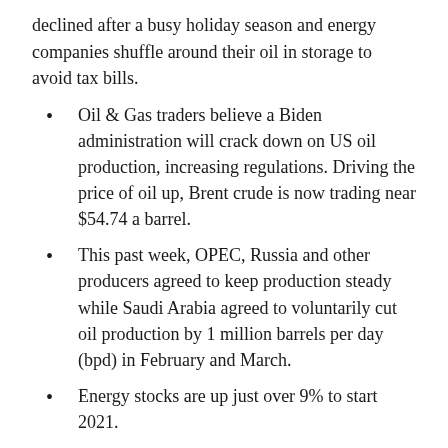declined after a busy holiday season and energy companies shuffle around their oil in storage to avoid tax bills.
Oil & Gas traders believe a Biden administration will crack down on US oil production, increasing regulations. Driving the price of oil up, Brent crude is now trading near $54.74 a barrel.
This past week, OPEC, Russia and other producers agreed to keep production steady while Saudi Arabia agreed to voluntarily cut oil production by 1 million barrels per day (bpd) in February and March.
Energy stocks are up just over 9% to start 2021.
Currency Performance Matrix